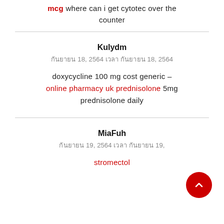mcg where can i get cytotec over the counter
Kulydm
กันยายน 18, 2564 เวลา กันยายน 18, 2564
doxycycline 100 mg cost generic – online pharmacy uk prednisolone 5mg prednisolone daily
MiaFuh
กันยายน 19, 2564 เวลา กันยายน 19,
stromectol